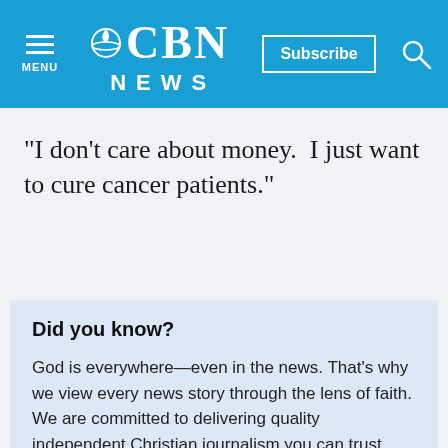MENU | CBN NEWS | Subscribe | Search
"I don't care about money.  I just want to cure cancer patients."
Did you know?
God is everywhere—even in the news. That's why we view every news story through the lens of faith. We are committed to delivering quality independent Christian journalism you can trust.